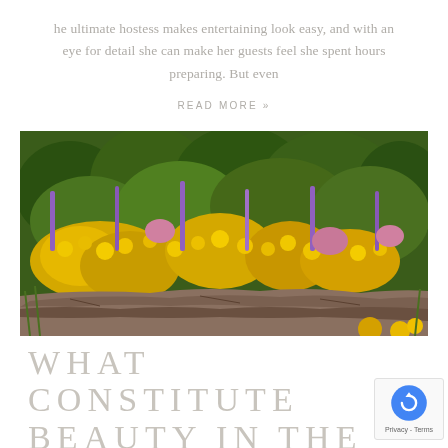he ultimate hostess makes entertaining look easy, and with an eye for detail she can make her guests feel she spent hours preparing. But even
READ MORE »
[Figure (photo): A lush garden with yellow, purple, and pink wildflowers and shrubs growing over flat stone rocks in a natural landscape setting.]
WHAT CONSTITUTES BEAUTY IN THE